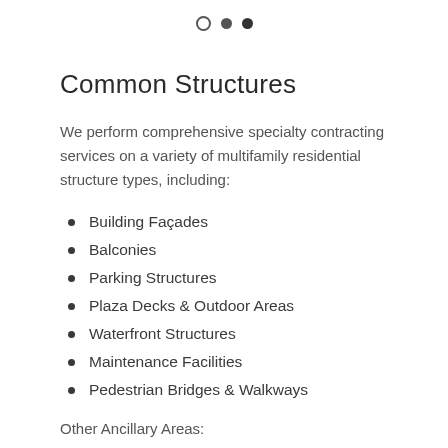○ • •
Common Structures
We perform comprehensive specialty contracting services on a variety of multifamily residential structure types, including:
Building Façades
Balconies
Parking Structures
Plaza Decks & Outdoor Areas
Waterfront Structures
Maintenance Facilities
Pedestrian Bridges & Walkways
Other Ancillary Areas: